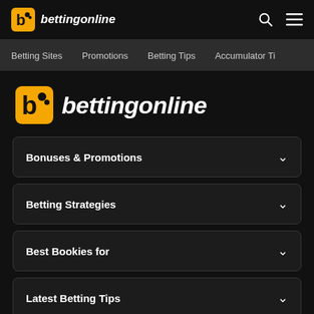bettingonline
Betting Sites | Promotions | Betting Tips | Accumulator Ti
[Figure (logo): bettingonline logo — orange square with 'b' icon and bold italic white text 'bettingonline']
Bonuses & Promotions
Betting Strategies
Best Bookies for
Latest Betting Tips
Top Betting Sites